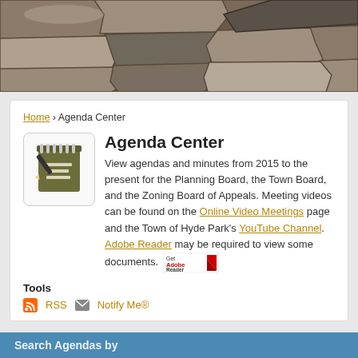[Figure (photo): Stone wall texture used as page header background image]
Home › Agenda Center
Agenda Center
View agendas and minutes from 2015 to the present for the Planning Board, the Town Board, and the Zoning Board of Appeals. Meeting videos can be found on the Online Video Meetings page and the Town of Hyde Park's YouTube Channel. Adobe Reader may be required to view some documents.
Tools
RSS   Notify Me®
Search Agendas by